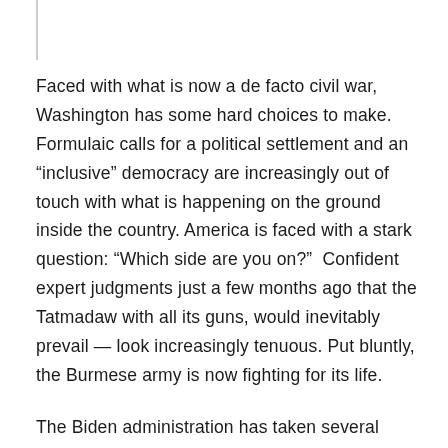Faced with what is now a de facto civil war, Washington has some hard choices to make. Formulaic calls for a political settlement and an “inclusive” democracy are increasingly out of touch with what is happening on the ground inside the country. America is faced with a stark question: “Which side are you on?”  Confident expert judgments just a few months ago that the Tatmadaw with all its guns, would inevitably prevail — look increasingly tenuous. Put bluntly, the Burmese army is now fighting for its life.
The Biden administration has taken several significant